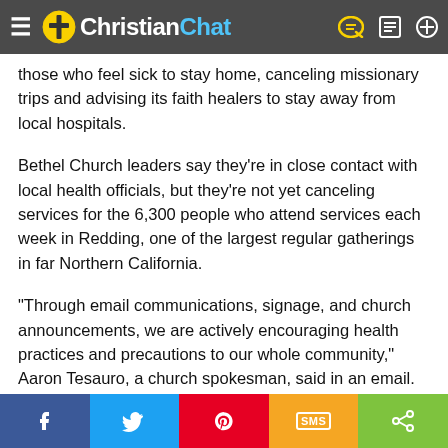ChristianChat
those who feel sick to stay home, canceling missionary trips and advising its faith healers to stay away from local hospitals.
Bethel Church leaders say they're in close contact with local health officials, but they're not yet canceling services for the 6,300 people who attend services each week in Redding, one of the largest regular gatherings in far Northern California.
“Through email communications, signage, and church announcements, we are actively encouraging health practices and precautions to our whole community,” Aaron Tesauro, a church spokesman, said in an email. “We believe that wisdom, modern medicine, and faith are meant to work together, and express the value for each in the pursuit of continued health and healing.”
Bethel is one of the north state’s largest institutions.
Facebook | Twitter | Pinterest | SMS | Share